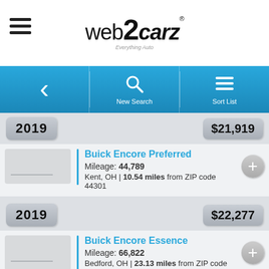web2carz - Everything Auto
2019 | $21,919 | Buick Encore Preferred | Mileage: 44,789 | Kent, OH | 10.54 miles from ZIP code 44301
2019 | $22,277 | Buick Encore Essence | Mileage: 66,822 | Bedford, OH | 23.13 miles from ZIP code 44301
2020 | $23,777 | Buick Encore Essence | Mileage: 56,297 | Bedford, OH | 23.13 miles from ZIP code 44301